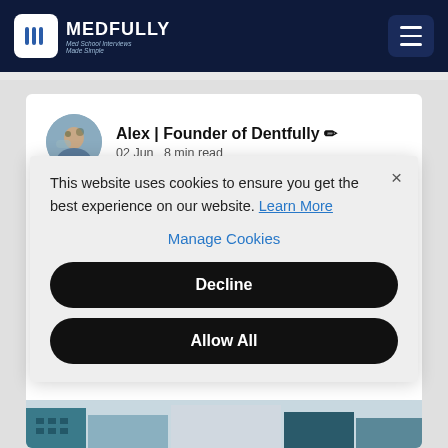MEDFULLY — Med School Interviews Made Simple
Alex | Founder of Dentfully ✏
02 Jun  8 min read
Ultimate Guide to Cardiff
This website uses cookies to ensure you get the best experience on our website. Learn More
Manage Cookies
Decline
Allow All
[Figure (photo): Building exterior photograph at bottom of article]